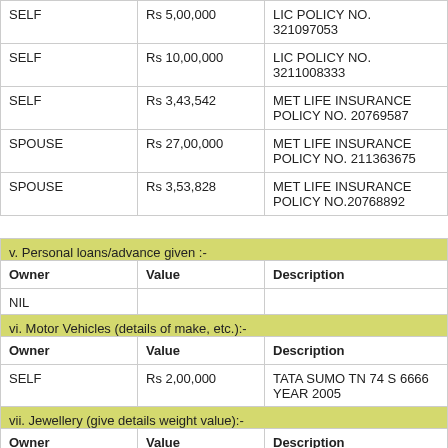| Owner | Value | Description |
| --- | --- | --- |
| SELF | Rs 5,00,000 | LIC POLICY NO. 321097053 |
| SELF | Rs 10,00,000 | LIC POLICY NO. 3211008333 |
| SELF | Rs 3,43,542 | MET LIFE INSURANCE POLICY NO. 20769587 |
| SPOUSE | Rs 27,00,000 | MET LIFE INSURANCE POLICY NO. 211363675 |
| SPOUSE | Rs 3,53,828 | MET LIFE INSURANCE POLICY NO.20768892 |
v. Personal loans/advance given :-
| Owner | Value | Description |
| --- | --- | --- |
| NIL |  |  |
vi. Motor Vehicles (details of make, etc.):-
| Owner | Value | Description |
| --- | --- | --- |
| SELF | Rs 2,00,000 | TATA SUMO TN 74 S 6666 YEAR 2005 |
vii. Jewellery (give details weight value):-
| Owner | Value | Description |
| --- | --- | --- |